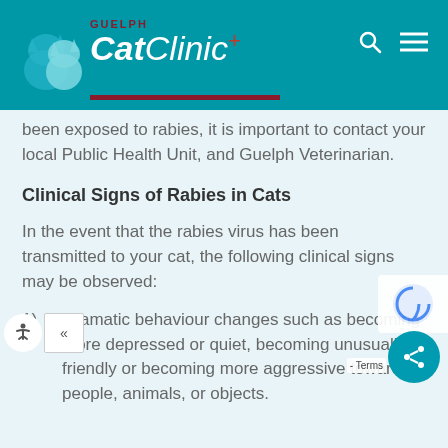[Figure (logo): Guelph Cat Clinic logo with teal cat silhouettes and red underline bar, on teal header background]
been exposed to rabies, it is important to contact your local Public Health Unit, and Guelph Veterinarian.
Clinical Signs of Rabies in Cats
In the event that the rabies virus has been transmitted to your cat, the following clinical signs may be observed:
1)    Dramatic behaviour changes such as becoming more depressed or quiet, becoming unusually friendly or becoming more aggressive towards people, animals, or objects.